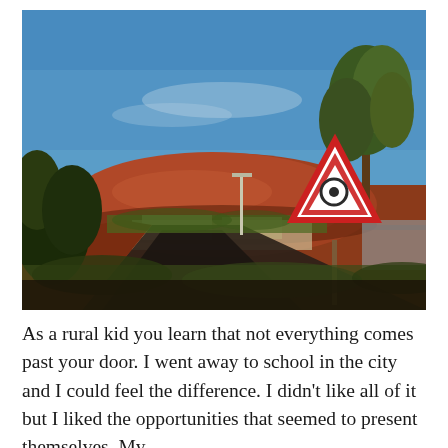[Figure (photo): Outdoor photograph showing a red dirt road leading toward Uluru (Ayers Rock) in the Australian outback. A triangular red-and-white yield/give way sign is visible on the right side of the road. Green trees frame the right side, sparse shrubs and red soil fill the foreground, and a clear blue sky occupies the upper portion of the image.]
As a rural kid you learn that not everything comes past your door. I went away to school in the city and I could feel the difference. I didn’t like all of it but I liked the opportunities that seemed to present themselves. My